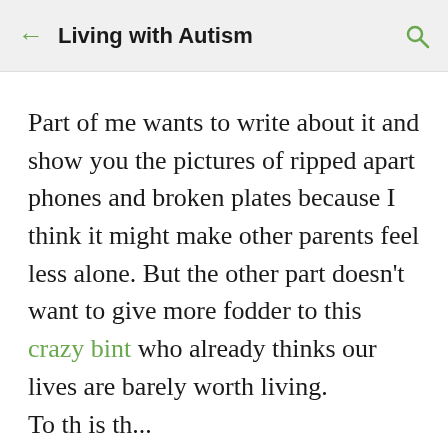← Living with Autism 🔍
Part of me wants to write about it and show you the pictures of ripped apart phones and broken plates because I think it might make other parents feel less alone. But the other part doesn't want to give more fodder to this crazy bint who already thinks our lives are barely worth living.
To th is th...